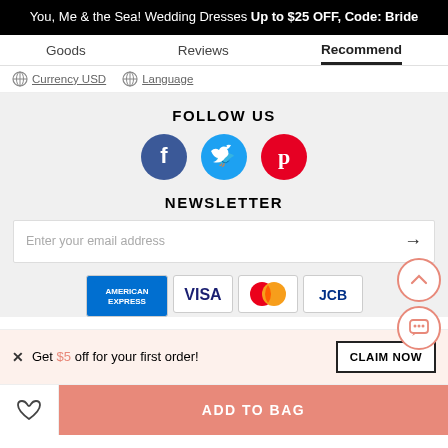You, Me & the Sea! Wedding Dresses Up to $25 OFF, Code: Bride
Goods | Reviews | Recommend
Currency USD | Language
FOLLOW US
[Figure (infographic): Three social media icons: Facebook (dark blue circle with f), Twitter (light blue circle with bird), Pinterest (red circle with P)]
NEWSLETTER
Enter your email address
[Figure (infographic): Payment method logos: American Express, Visa, Mastercard, JCB]
X  Get $5 off for your first order!
CLAIM NOW
ADD TO BAG